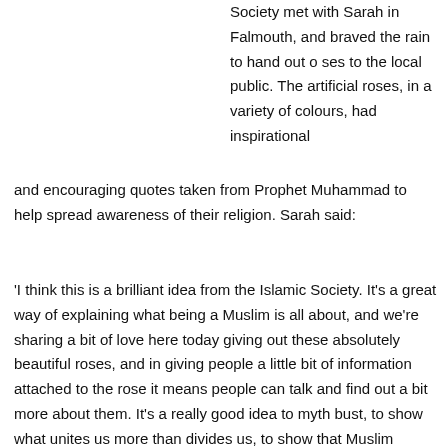Society met with Sarah in Falmouth, and braved the rain to hand out o ses to the local public. The artificial roses, in a variety of colours, had inspirational and encouraging quotes taken from Prophet Muhammad to help spread awareness of their religion. Sarah said:
'I think this is a brilliant idea from the Islamic Society. It's a great way of explaining what being a Muslim is all about, and we're sharing a bit of love here today giving out these absolutely beautiful roses, and in giving people a little bit of information attached to the rose it means people can talk and find out a bit more about them. It's a really good idea to myth bust, to show what unites us more than divides us, to show that Muslim people are living here peacefully alongside us, and to show what their faith is really about. It's not about images